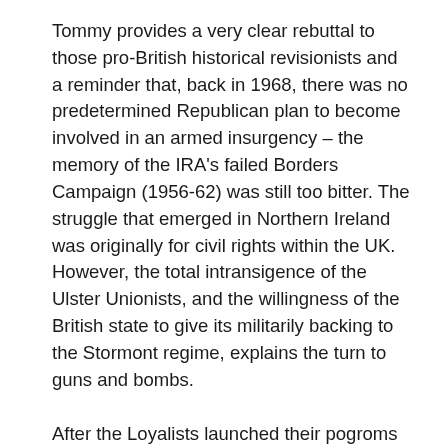Tommy provides a very clear rebuttal to those pro-British historical revisionists and a reminder that, back in 1968, there was no predetermined Republican plan to become involved in an armed insurgency – the memory of the IRA's failed Borders Campaign (1956-62) was still too bitter. The struggle that emerged in Northern Ireland was originally for civil rights within the UK. However, the total intransigence of the Ulster Unionists, and the willingness of the British state to give its militarily backing to the Stormont regime, explains the turn to guns and bombs.
After the Loyalists launched their pogroms in the summer of 1969 (involving the B Specials), citizen defence groups emerged in the Nationalist areas of Belfast and Derry. They looked for whatever arms they could get, which meant they were illegally acquired, to defend themselves against the hugely better-armed